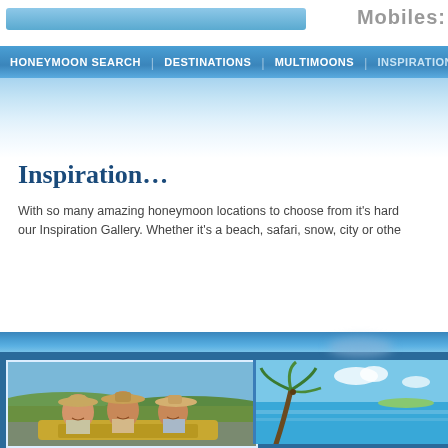Mobiles:
HONEYMOON SEARCH   DESTINATIONS   MULTIMOONS   INSPIRATION
Inspiration…
With so many amazing honeymoon locations to choose from it's hard to decide. Explore our Inspiration Gallery. Whether it's a beach, safari, snow, city or othe…
[Figure (photo): Three men wearing cowboy hats sitting on a vehicle outdoors in a rural setting]
[Figure (photo): Tropical beach scene with palm trees and turquoise water/pool]